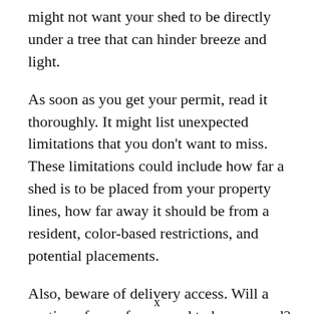might not want your shed to be directly under a tree that can hinder breeze and light.
As soon as you get your permit, read it thoroughly. It might list unexpected limitations that you don't want to miss. These limitations could include how far a shed is to be placed from your property lines, how far away it should be from a resident, color-based restrictions, and potential placements.
Also, beware of delivery access. Will a portion of your fence need to be removed? Is the side of your yard large enough to fit the shed? Is there any other available place where you can build your shed, which
x